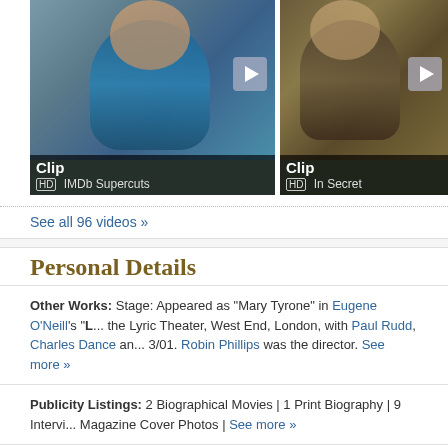[Figure (screenshot): Two video thumbnails side by side. Left: 'Clip - HD IMDb Supercuts' with play button. Right: 'Clip - HD In Secret' with play button.]
See all 96 videos »
Personal Details
Other Works:   Stage: Appeared as "Mary Tyrone" in Eugene O'Neill's "L... the Lyric Theater, West End, London, with Paul Rudd, Charles Dance an... 3/01. Robin Phillips was the director. See more »
Publicity Listings:   2 Biographical Movies | 1 Print Biography | 9 Intervi... Magazine Cover Photos | See more »
Height:   5' 7½" (1.71 m)
Spouse:   Francisco Paco Grande  (divorced)
Children:   Lange Baryshnikov, Aleksandra "Shura" | See more »
Parents:   Sahlman, Dorothy | Lange, Al